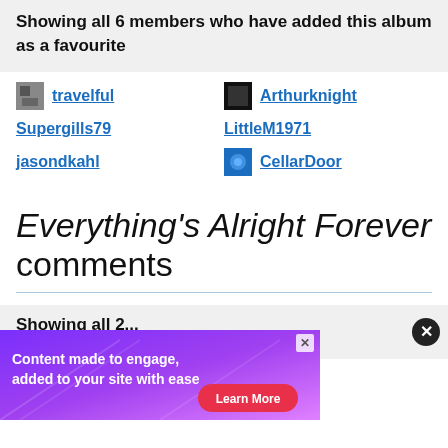Showing all 6 members who have added this album as a favourite
travelful
Arthurknight
Supergills79
LittleM1971
jasondkahl
CellarDoor
Everything's Alright Forever comments
Showing all 2 comments
[Figure (screenshot): Advertisement banner: purple gradient background with text 'Content made to engage, added to your site with ease' and a red 'Learn More' button]